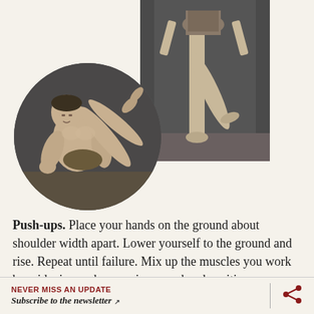[Figure (photo): Vintage black-and-white rectangular photo showing a person's lower body in a leotard, standing on one leg with the other raised, against a dark background. Top-center position.]
[Figure (photo): Vintage black-and-white circular-cropped photo of a muscular man sitting on the floor with legs raised, performing an exercise. Bottom-left position.]
Push-ups. Place your hands on the ground about shoulder width apart. Lower yourself to the ground and rise. Repeat until failure. Mix up the muscles you work by widening and narrowing your hand position.
Di...  Sit on the ground. Elevate your feet by raising the...
NEVER MISS AN UPDATE
Subscribe to the newsletter